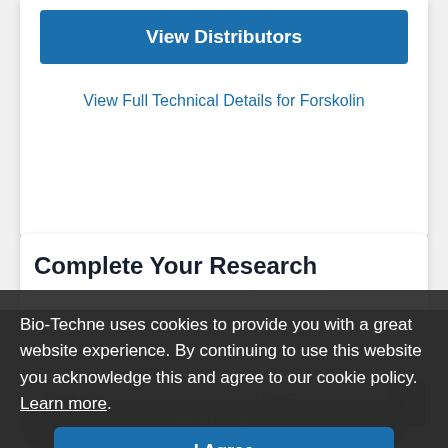View Distributors
View Full Technical Details for Forskolin
Complete Your Research
Forskolin
Cat # TR1099-PM11
Gastr...
Cat #
Bio-Techne uses cookies to provide you with a great website experience. By continuing to use this website you acknowledge this and agree to our cookie policy. Learn more.
I Agree
Chat now